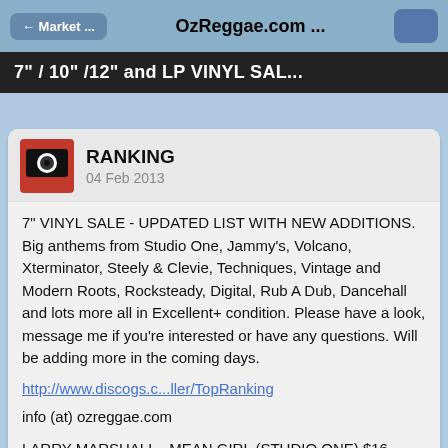← Market ...   OzReggae.com ...
7" / 10" /12" and LP VINYL SAL...
RANKING
04 Feb 2013
7" VINYL SALE - UPDATED LIST WITH NEW ADDITIONS. Big anthems from Studio One, Jammy's, Volcano, Xterminator, Steely & Clevie, Techniques, Vintage and Modern Roots, Rocksteady, Digital, Rub A Dub, Dancehall and lots more all in Excellent+ condition. Please have a look, message me if you're interested or have any questions. Will be adding more in the coming days.
http://www.discogs.c...ller/TopRanking
info (at) ozreggae.com
LARRY MARSHALL - MEAN GIRL (STUDIO ONE) $16
CORNEL CAMPBELL - DIDN'T I (STUDIO ONE) $20